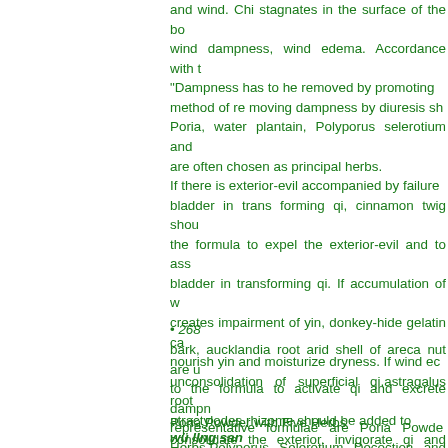and wind. Chi stagnates in the surface of the body, wind dampness, wind edema. Accordance with "Dampness has to he removed by promoting method of re moving dampness by diuresis sh... Poria, water plantain, Polyporus selerotium and ... are often chosen as principal herbs. If there is exterior-evil accompanied by failure ... bladder in trans forming qi, cinnamon twig shou... the formula to expel the exterior-evil and to ass... bladder in transforming qi. If accumulation of w... creates impairment of yin, donkey-hide gelatin ca... nourish yin and moisturize dryness. If wind ec... unconsolidation of superficial qi,astragalus root... atractylodes rhizome should be added to ... consolidate the exterior, invigorate qi and strength... If stagnation of water and dampness disturbs func... of qi, tangerine peel, magnolia
• 268
bark, aucklandia root arid shell of areca nut are u... to the formula to activate qi and excrete dampn... representative formulae are Poria Powde... Herbs,Polyporus Selerotium Decoction and Five ... Powder and so on.
Poria Powder with Five Herbs
wü lIng san
SOURCE: Treatise on Cold- Attack